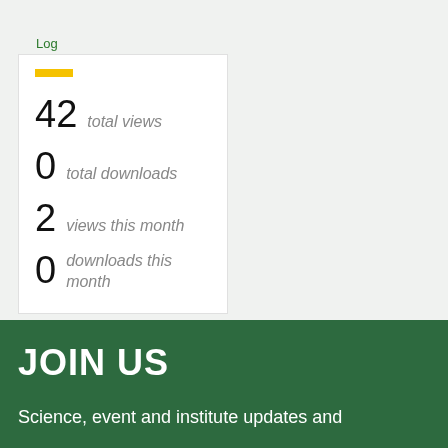Log in to edit
42  total views
0  total downloads
2  views this month
0  downloads this month
JOIN US
Science, event and institute updates and